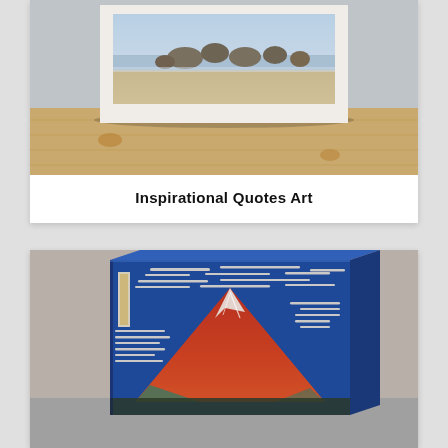[Figure (photo): A framed beach photograph with rocks and ocean waves displayed on a wooden floor]
Inspirational Quotes Art
[Figure (photo): A canvas print of Hokusai's Red Fuji (Fine Wind, Clear Morning) showing Mount Fuji with red/orange coloring against a blue sky with clouds]